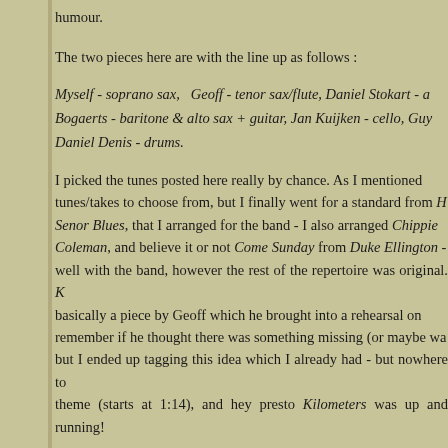humour.
The two pieces here are with the line up as follows :
Myself - soprano sax,  Geoff - tenor sax/flute, Daniel Stokart - a... Bogaerts - baritone & alto sax + guitar, Jan Kuijken - cello, Guy ... Daniel Denis - drums.
I picked the tunes posted here really by chance. As I mentioned... tunes/takes to choose from, but I finally went for a standard from H... Senor Blues, that I arranged for the band - I also arranged Chippie... Coleman, and believe it or not Come Sunday from Duke Ellington -... well with the band, however the rest of the repertoire was original. K... basically a piece by Geoff which he brought into a rehearsal on... remember if he thought there was something missing (or maybe wa... but I ended up tagging this idea which I already had - but nowhere to... theme (starts at 1:14), and hey presto Kilometers was up and running!
Kilometers (G.Leigh/J.Higham)
Couldn't load plugin.
Solos - Geoff and Mark.